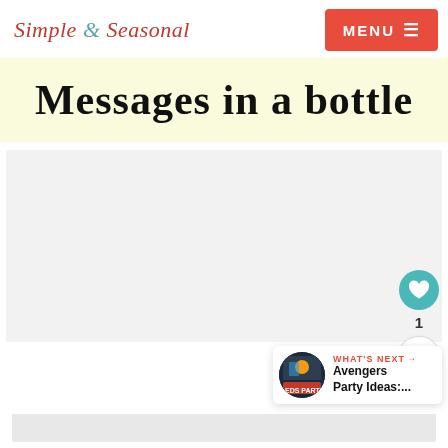Simple & Seasonal
Messages in a bottle
[Figure (photo): Large content image area, mostly empty/white placeholder]
1
WHAT'S NEXT → Avengers Party Ideas:....